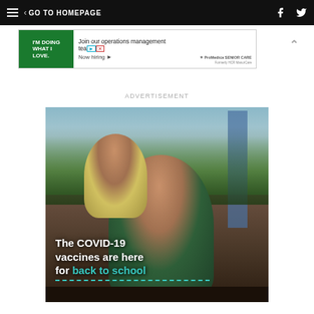GO TO HOMEPAGE
[Figure (infographic): Advertisement banner: I'M DOING WHAT I LOVE. Join our operations management team. Now hiring. ProMedica Senior Care logo.]
ADVERTISEMENT
[Figure (photo): Advertisement photo showing a smiling woman holding a toddler in an outdoor park setting. Text overlay reads: The COVID-19 vaccines are here for back to school]